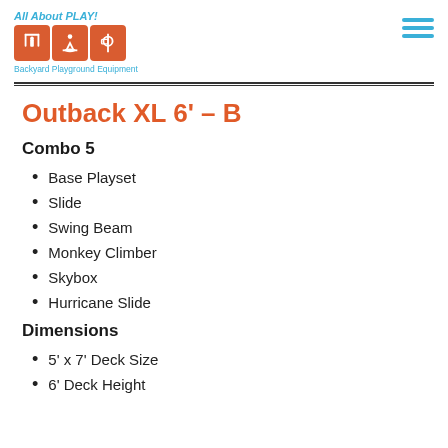All About PLAY! Backyard Playground Equipment
Outback XL 6' – B
Combo 5
Base Playset
Slide
Swing Beam
Monkey Climber
Skybox
Hurricane Slide
Dimensions
5' x 7' Deck Size
6' Deck Height